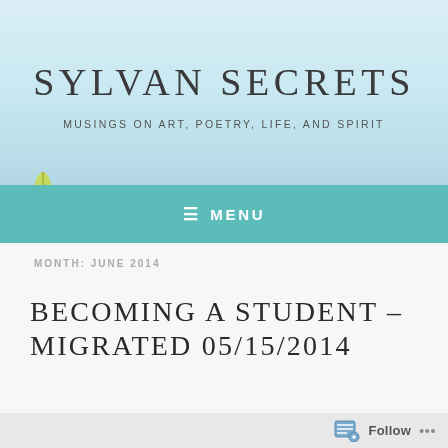[Figure (illustration): Light blue gradient background with floral/nature elements (yellow leaf on left, pink flower on right) serving as the blog header background image]
SYLVAN SECRETS
MUSINGS ON ART, POETRY, LIFE, AND SPIRIT
≡ MENU
MONTH: JUNE 2014
BECOMING A STUDENT – MIGRATED 05/15/2014
Follow ...